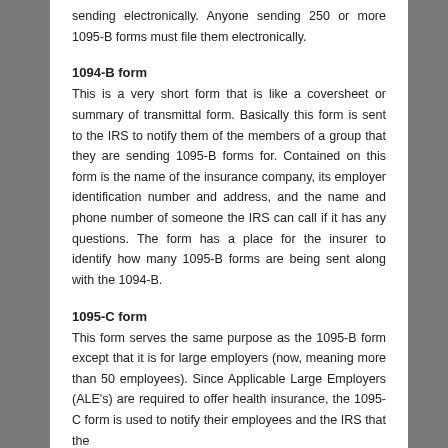sending electronically. Anyone sending 250 or more 1095-B forms must file them electronically.
1094-B form
This is a very short form that is like a coversheet or summary of transmittal form. Basically this form is sent to the IRS to notify them of the members of a group that they are sending 1095-B forms for. Contained on this form is the name of the insurance company, its employer identification number and address, and the name and phone number of someone the IRS can call if it has any questions. The form has a place for the insurer to identify how many 1095-B forms are being sent along with the 1094-B.
1095-C form
This form serves the same purpose as the 1095-B form except that it is for large employers (now, meaning more than 50 employees). Since Applicable Large Employers (ALE's) are required to offer health insurance, the 1095-C form is used to notify their employees and the IRS that the